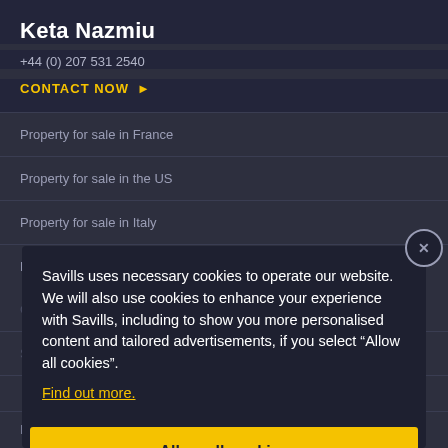Keta Nazmiu
+44 (0) 207 531 2540
CONTACT NOW ▶
Property for sale in France
Property for sale in the US
Property for sale in Italy
Property for sale in Australia
Savills uses necessary cookies to operate our website. We will also use cookies to enhance your experience with Savills, including to show you more personalised content and tailored advertisements, if you select "Allow all cookies". Find out more.
Allow all cookies
Buying or Selling Property
Office Space